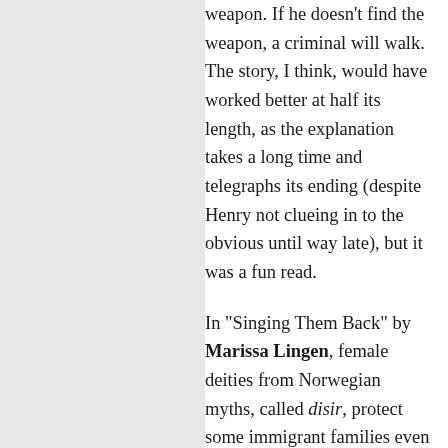weapon. If he doesn't find the weapon, a criminal will walk. The story, I think, would have worked better at half its length, as the explanation takes a long time and telegraphs its ending (despite Henry not clueing in to the obvious until way late), but it was a fun read.
In "Singing Them Back" by Marissa Lingen, female deities from Norwegian myths, called disir, protect some immigrant families even generations after their arrival in North America. In Karin's case, the disir came